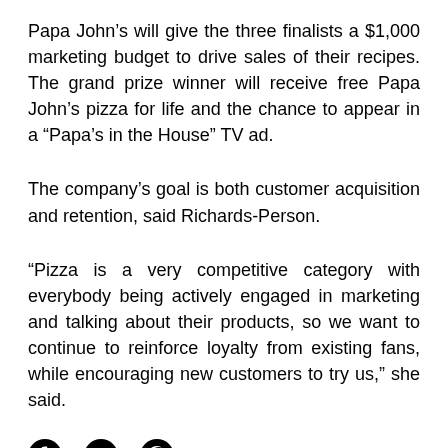Papa John's will give the three finalists a $1,000 marketing budget to drive sales of their recipes. The grand prize winner will receive free Papa John's pizza for life and the chance to appear in a “Papa’s in the House” TV ad.
The company’s goal is both customer acquisition and retention, said Richards-Person.
“Pizza is a very competitive category with everybody being actively engaged in marketing and talking about their products, so we want to continue to reinforce loyalty from existing fans, while encouraging new customers to try us,” she said.
[Figure (other): Social media icons: Facebook, Twitter, Pinterest]